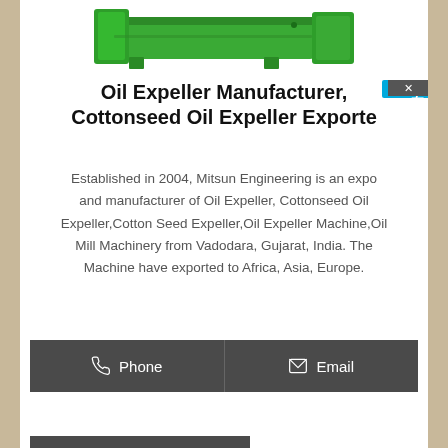[Figure (photo): Green oil expeller machine viewed from front-side angle]
Oil Expeller Manufacturer, Cottonseed Oil Expeller Exporte
Established in 2004, Mitsun Engineering is an exporter and manufacturer of Oil Expeller, Cottonseed Oil Expeller,Cotton Seed Expeller,Oil Expeller Machine,Oil Mill Machinery from Vadodara, Gujarat, India. The Machine have exported to Africa, Asia, Europe.
Phone
Email
Send Inquiry
Whatsapp